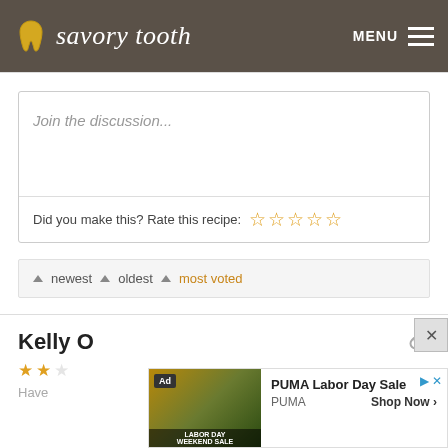savory tooth
Join the discussion...
Did you make this? Rate this recipe: ★★★★★
▲ newest ▲ oldest ▲ most voted
Kelly O
[Figure (screenshot): PUMA Labor Day Sale advertisement banner with image of athlete and shop now button]